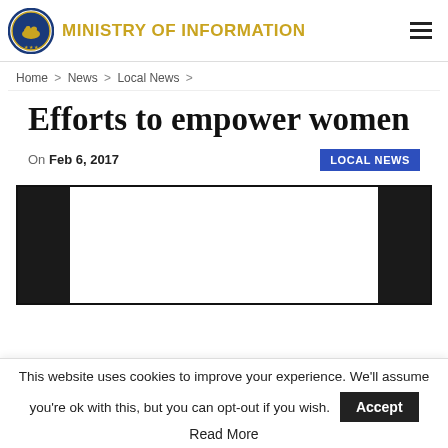MINISTRY OF INFORMATION
Home > News > Local News >
Efforts to empower women
On Feb 6, 2017  LOCAL NEWS
[Figure (photo): Article image with dark bars on left and right sides, white center area]
This website uses cookies to improve your experience. We'll assume you're ok with this, but you can opt-out if you wish. Accept
Read More